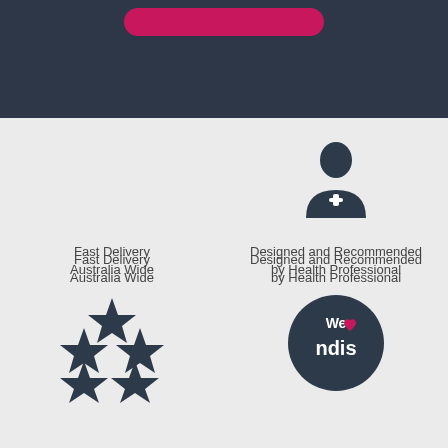[Figure (illustration): Dark navy background section at top with a pink/magenta rounded button shape at the top center]
[Figure (infographic): Light gray background section with four icons: fast delivery truck (implied by text), health professional person with cross icon, five gold stars rating, and We love NDIS circular badge]
Fast Delivery Australia Wide
Designed and Recommended by Health Professional